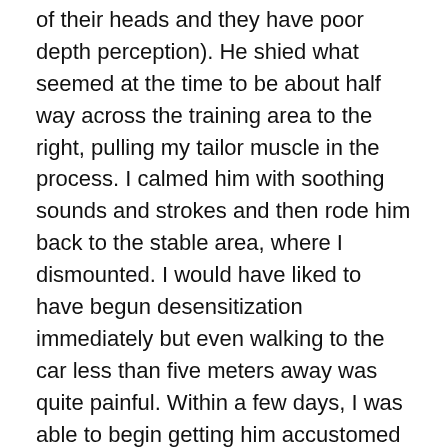of their heads and they have poor depth perception). He shied what seemed at the time to be about half way across the training area to the right, pulling my tailor muscle in the process. I calmed him with soothing sounds and strokes and then rode him back to the stable area, where I dismounted. I would have liked to have begun desensitization immediately but even walking to the car less than five meters away was quite painful. Within a few days, I was able to begin getting him accustomed to flying bags. First, I rubbed his back pleasantly with an empty feed sack. After that had ceased to bother him, I shook it in his face. It took a bit longer, but he settled down. Then I attached the sack to the end of a long flexible stick and after a while I was able to wave it in his general direction while I had him going on a lunge line in a circle around me. Then, I did the same thing with him going around in